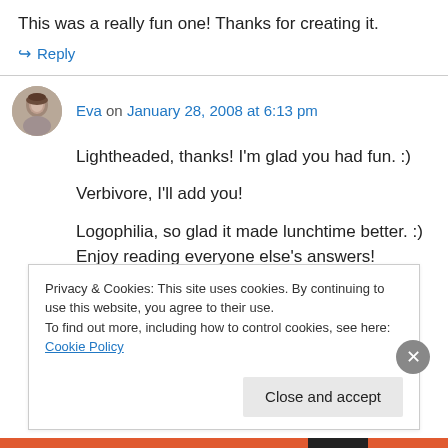This was a really fun one! Thanks for creating it.
↪ Reply
Eva on January 28, 2008 at 6:13 pm
Lightheaded, thanks! I'm glad you had fun. :)
Verbivore, I'll add you!
Logophilia, so glad it made lunchtime better. :) Enjoy reading everyone else's answers!
Privacy & Cookies: This site uses cookies. By continuing to use this website, you agree to their use. To find out more, including how to control cookies, see here: Cookie Policy
Close and accept